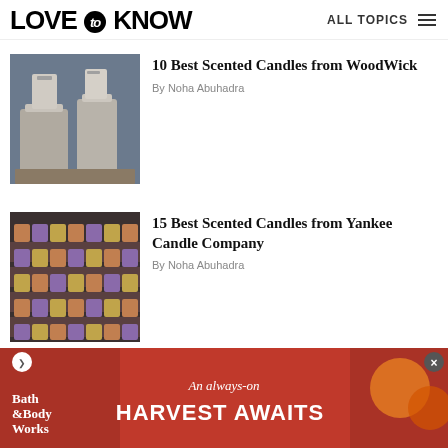LOVE to KNOW — ALL TOPICS
[Figure (photo): WoodWick candles displayed on a wooden shelf]
10 Best Scented Candles from WoodWick
By Noha Abuhadra
[Figure (photo): Yankee Candle Company store shelves stocked with candles]
15 Best Scented Candles from Yankee Candle Company
By Noha Abuhadra
[Figure (photo): Bath & Body Works advertisement banner — An always-on HARVEST AWAITS]